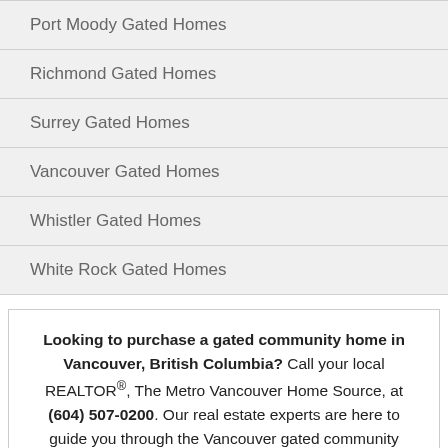Port Moody Gated Homes
Richmond Gated Homes
Surrey Gated Homes
Vancouver Gated Homes
Whistler Gated Homes
White Rock Gated Homes
Looking to purchase a gated community home in Vancouver, British Columbia? Call your local REALTOR®, The Metro Vancouver Home Source, at (604) 507-0200. Our real estate experts are here to guide you through the Vancouver gated community housing market.
Vancouver Gated Community